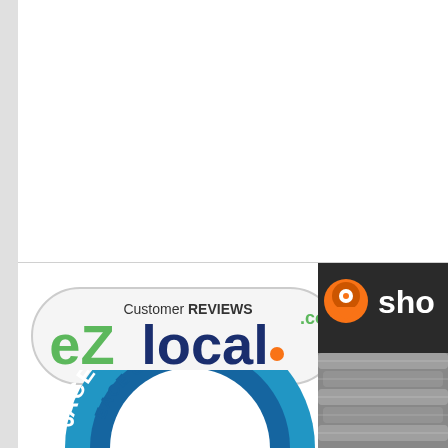[Figure (logo): EZlocal.com Customer REVIEWS logo — pill-shaped white badge with green 'eZ', dark blue 'local' and orange dot, with 'Customer REVIEWS' text above and '.com' in green superscript]
[Figure (logo): Partial 'PEACE OF MIND' circular badge in blue with white text, partially cropped at bottom]
[Figure (logo): Partial shopper/shoplocal logo on dark background with orange location pin icon, partially cropped on right edge. Below it is a partial photo of metal pipes/tubes.]